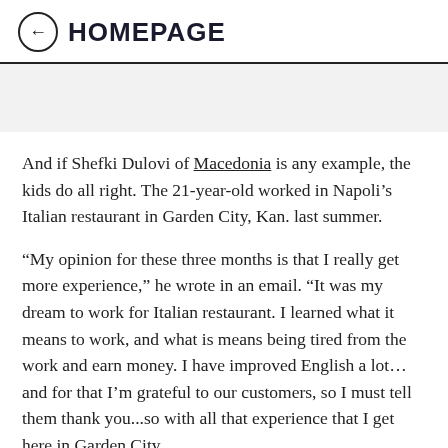HOMEPAGE
And if Shefki Dulovi of Macedonia is any example, the kids do all right. The 21-year-old worked in Napoli’s Italian restaurant in Garden City, Kan. last summer.
“My opinion for these three months is that I really get more experience,” he wrote in an email. “It was my dream to work for Italian restaurant. I learned what it means to work, and what is means being tired from the work and earn money. I have improved English a lot…and for that I’m grateful to our customers, so I must tell them thank you...so with all that experience that I get here in Garden City...